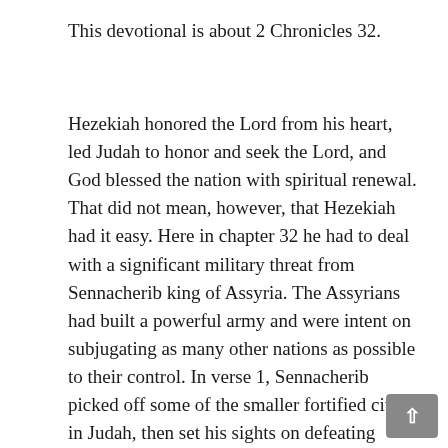This devotional is about 2 Chronicles 32.
Hezekiah honored the Lord from his heart, led Judah to honor and seek the Lord, and God blessed the nation with spiritual renewal. That did not mean, however, that Hezekiah had it easy. Here in chapter 32 he had to deal with a significant military threat from Sennacherib king of Assyria. The Assyrians had built a powerful army and were intent on subjugating as many other nations as possible to their control. In verse 1, Sennacherib picked off some of the smaller fortified cities in Judah, then set his sights on defeating Jerusalem. Remember that David chose Jerusalem to be his capital